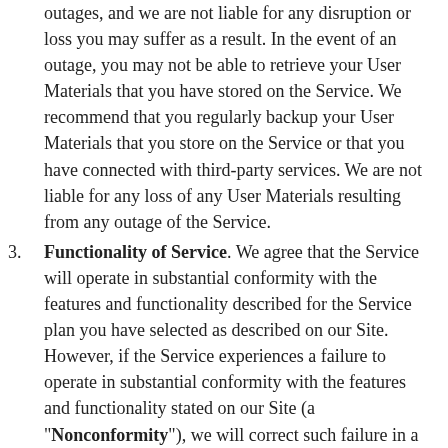outages, and we are not liable for any disruption or loss you may suffer as a result. In the event of an outage, you may not be able to retrieve your User Materials that you have stored on the Service. We recommend that you regularly backup your User Materials that you store on the Service or that you have connected with third-party services. We are not liable for any loss of any User Materials resulting from any outage of the Service.
3. Functionality of Service. We agree that the Service will operate in substantial conformity with the features and functionality described for the Service plan you have selected as described on our Site. However, if the Service experiences a failure to operate in substantial conformity with the features and functionality stated on our Site (a "Nonconformity"), we will correct such failure in a prompt and timely manner according to the nature and effect of such failure after notification from you. Such correction shall